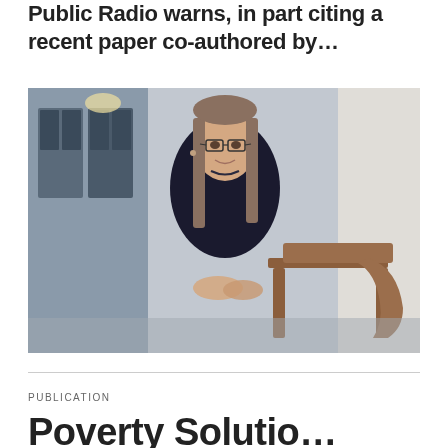Public Radio warns, in part citing a recent paper co-authored by…
[Figure (photo): Professional portrait of a woman with long straight hair and glasses, wearing a dark blazer, seated in a wooden chair in an indoor hallway setting.]
PUBLICATION
Poverty Solutions…